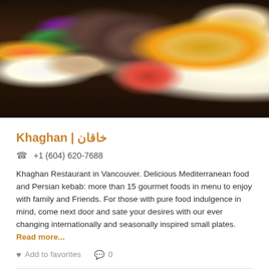[Figure (photo): A plate of Persian/Mediterranean food with kebabs, grilled tomato, rice, lemon wedges, herbs, purple cabbage, and pickles on a dark blue plate, photographed on a dark wooden surface.]
Khaghan | خاقان
+1 (604) 620-7688
Khaghan Restaurant in Vancouver. Delicious Mediterranean food and Persian kebab: more than 15 gourmet foods in menu to enjoy with family and Friends. For those with pure food indulgence in mind, come next door and sate your desires with our ever changing internationally and seasonally inspired small plates. Read more...
Add to favorites  0